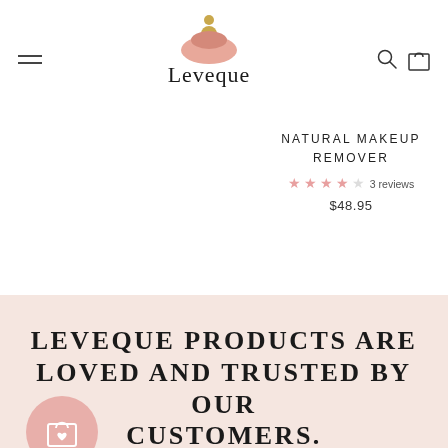[Figure (logo): Leveque brand logo with abstract pink bowl shapes and gold dots above the word Leveque in serif font]
NATURAL MAKEUP REMOVER
★★★★☆ 3 reviews
$48.95
LEVEQUE PRODUCTS ARE LOVED AND TRUSTED BY OUR CUSTOMERS.